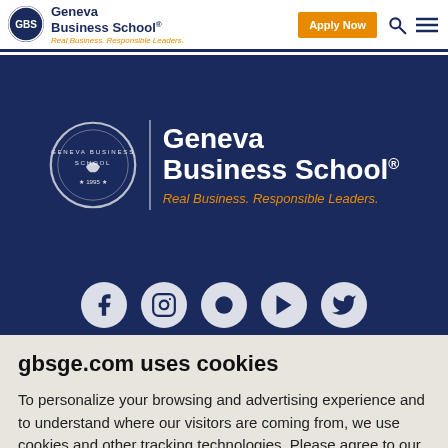Geneva Business School® Real Business. Responsible Leaders. Apply Now
[Figure (logo): Geneva Business School logo with circular emblem, school name in bold navy, tagline in orange italic: Real Business. Responsible Leaders.]
[Figure (illustration): Five social media icons (Facebook, Instagram, circle/X, YouTube, Twitter) in white circles on dark navy background]
gbsge.com uses cookies
To personalize your browsing and advertising experience and to understand where our visitors are coming from, we use cookies and other tracking technologies. Please agree to our cookie preferences or set your own to continue.